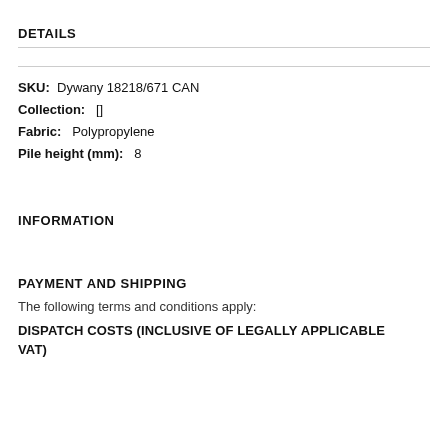DETAILS
SKU: Dywany 18218/671 CAN
Collection: []
Fabric: Polypropylene
Pile height (mm): 8
INFORMATION
PAYMENT AND SHIPPING
The following terms and conditions apply:
DISPATCH COSTS (INCLUSIVE OF LEGALLY APPLICABLE VAT)